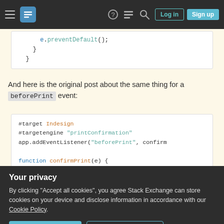Stack Exchange navigation bar with Log in and Sign up buttons
[Figure (screenshot): Code block showing: e.preventDefault(); } }]
And here is the original post about the same thing for a beforePrint event:
[Figure (screenshot): Code block showing: #target Indesign
#targetengine "printConfirmation"
app.addEventListener("beforePrint", confirm

function confirmPrint(e) {
  if t Fi ("D ll ) t t i t]
Your privacy
By clicking "Accept all cookies", you agree Stack Exchange can store cookies on your device and disclose information in accordance with our Cookie Policy.
Accept all cookies   Customize settings
because when closing a document, both the